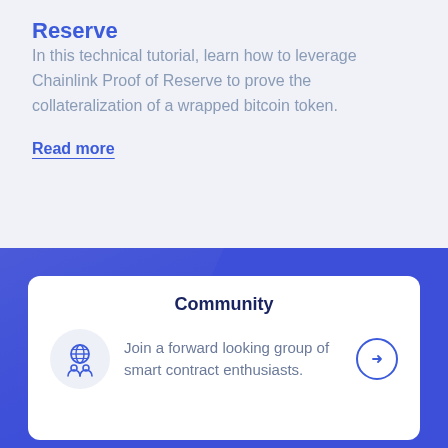Reserve
In this technical tutorial, learn how to leverage Chainlink Proof of Reserve to prove the collateralization of a wrapped bitcoin token.
Read more
Community
Join a forward looking group of smart contract enthusiasts.